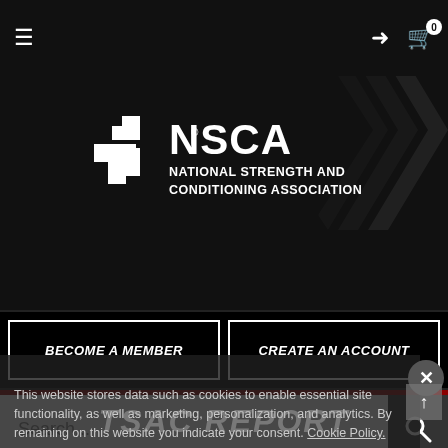[Figure (screenshot): NSCA (National Strength and Conditioning Association) website screenshot showing navigation bar, logo, CTA buttons (Become a Member, Create an Account), search bar, and cookie consent banner with TSAC REPORT watermark]
BECOME A MEMBER
CREATE AN ACCOUNT
Search...
This website stores data such as cookies to enable essential site functionality, as well as marketing, personalization, and analytics. By remaining on this website you indicate your consent. Cookie Policy.
TSAC REPORT